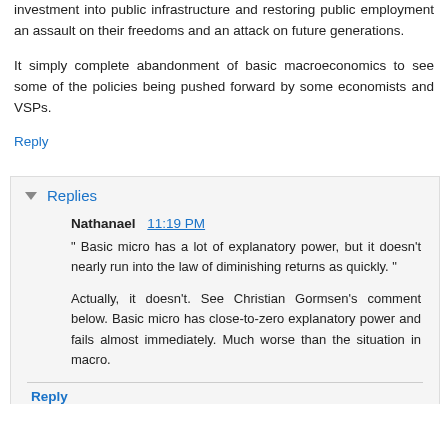investment into public infrastructure and restoring public employment an assault on their freedoms and an attack on future generations.
It simply complete abandonment of basic macroeconomics to see some of the policies being pushed forward by some economists and VSPs.
Reply
Replies
Nathanael  11:19 PM
" Basic micro has a lot of explanatory power, but it doesn't nearly run into the law of diminishing returns as quickly. "
Actually, it doesn't. See Christian Gormsen's comment below. Basic micro has close-to-zero explanatory power and fails almost immediately. Much worse than the situation in macro.
Reply